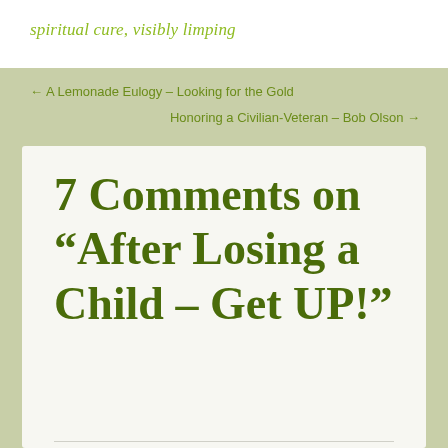spiritual cure, visibly limping
← A Lemonade Eulogy – Looking for the Gold
Honoring a Civilian-Veteran – Bob Olson →
7 Comments on "After Losing a Child – Get UP!"
Mary P Nettles
11/05/2016
[Figure (illustration): Green decorative geometric/quilt-pattern avatar icon]
Beautiful. I realized long ago that the man at the pool was the only man Jesus warned later. It didn't dawn on me until I read this that the man